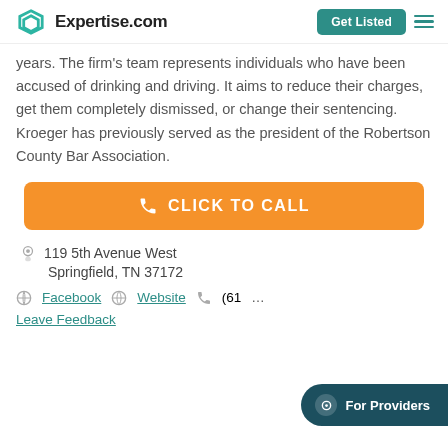Expertise.com | Get Listed
years. The firm's team represents individuals who have been accused of drinking and driving. It aims to reduce their charges, get them completely dismissed, or change their sentencing. Kroeger has previously served as the president of the Robertson County Bar Association.
CLICK TO CALL
119 5th Avenue West
Springfield, TN 37172
Facebook  Website  (61...
Leave Feedback
For Providers